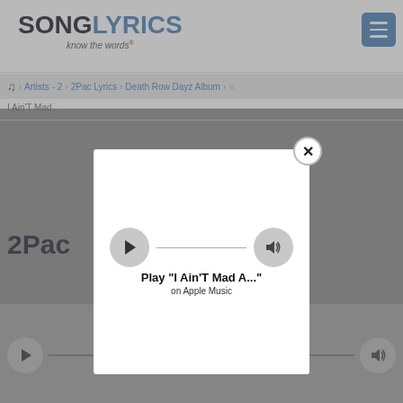[Figure (screenshot): SongLyrics website screenshot showing a modal popup with Apple Music player widget. The page shows 'SONGLYRICS - know the words' header with hamburger menu, breadcrumb navigation (Artists - 2 > 2Pac Lyrics > Death Row Dayz Album), partial page content showing '2Pac' and 'Feat.' heading, 'Heyo! S...' and '...RIFF-it.' text. A white modal overlay contains Play 'I Ain'T Mad A...' on Apple Music player with play button and volume button. Below the modal is another player widget showing Play 'I Ain'T Mad At Ch...' on Apple Music.]